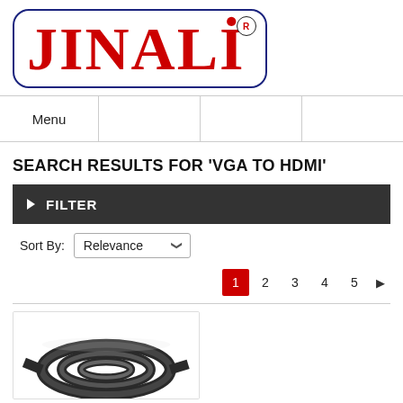[Figure (logo): JINALI brand logo in red serif bold text inside a rounded rectangle border with registered trademark symbol]
Menu
SEARCH RESULTS FOR 'VGA TO HDMI'
▶ FILTER
Sort By: Relevance
1  2  3  4  5  ▶
[Figure (photo): Product image showing a coiled black cable (VGA to HDMI cable)]